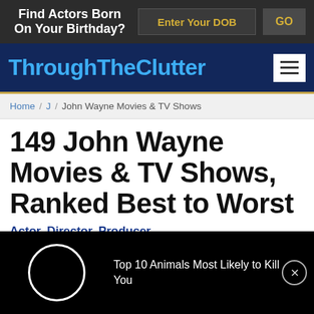Find Actors Born On Your Birthday?  Enter Your DOB  GO
ThroughTheClutter
Home / J / John Wayne Movies & TV Shows
149 John Wayne Movies & TV Shows, Ranked Best to Worst
Actor, Director, Producer
Top 10 Animals Most Likely to Kill You